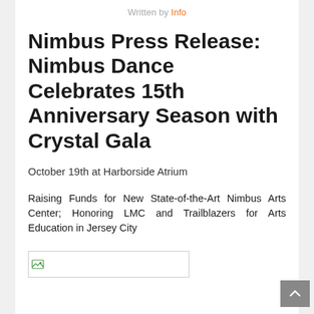Written by Info
Nimbus Press Release: Nimbus Dance Celebrates 15th Anniversary Season with Crystal Gala
October 19th at Harborside Atrium
Raising Funds for New State-of-the-Art Nimbus Arts Center; Honoring LMC and Trailblazers for Arts Education in Jersey City
[Figure (other): Broken/missing image placeholder]